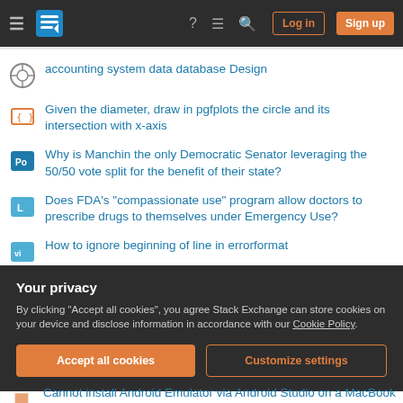Stack Exchange navigation bar with Log in and Sign up buttons
accounting system data database Design
Given the diameter, draw in pgfplots the circle and its intersection with x-axis
Why is Manchin the only Democratic Senator leveraging the 50/50 vote split for the benefit of their state?
Does FDA's "compassionate use" program allow doctors to prescribe drugs to themselves under Emergency Use?
How to ignore beginning of line in errorformat
Word order and focus ("this finding needs to be cautiously interpreted")
How to deal with students that are not interested in the class but the
Your privacy
By clicking "Accept all cookies", you agree Stack Exchange can store cookies on your device and disclose information in accordance with our Cookie Policy.
Accept all cookies  Customize settings
Cannot install Android Emulator via Android Studio on a MacBook M1